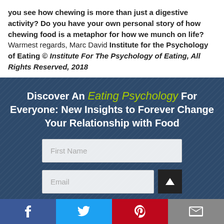you see how chewing is more than just a digestive activity? Do you have your own personal story of how chewing food is a metaphor for how we munch on life? Warmest regards, Marc David Institute for the Psychology of Eating © Institute For The Psychology of Eating, All Rights Reserved, 2018
[Figure (infographic): Dark blue textured banner with centered white bold text reading 'Discover An Eating Psychology For Everyone: New Insights to Forever Change Your Relationship with Food' where 'Eating Psychology' is in yellow-green cursive. Below are two form input boxes labeled 'First Name' and 'Email', with a back-to-top button and reCAPTCHA logo.]
[Figure (infographic): Social media sharing bar with four buttons: Facebook (blue), Twitter (light blue), Pinterest (red), Email (gray)]